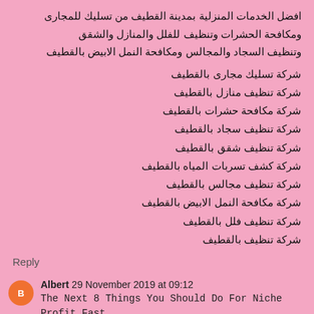افضل الخدمات المنزلية بمدينة القطيف من تسليك للمجارى ومكافحة الحشرات وتنظيف للفلل والمنازل والشقق وتنظيف السجاد والمجالس ومكافحة النمل الابيض بالقطيف
شركة تسليك مجارى بالقطيف
شركة تنظيف منازل بالقطيف
شركة مكافحة حشرات بالقطيف
شركة تنظيف سجاد بالقطيف
شركة تنظيف شقق بالقطيف
شركة كشف تسربات المياه بالقطيف
شركة تنظيف مجالس بالقطيف
شركة مكافحة النمل الابيض بالقطيف
شركة تنظيف فلل بالقطيف
شركة تنظيف بالقطيف
Reply
Albert 29 November 2019 at 09:12
The Next 8 Things You Should Do For Niche Profit Fast Track Success https://www.reviewengin.com/niche-profit